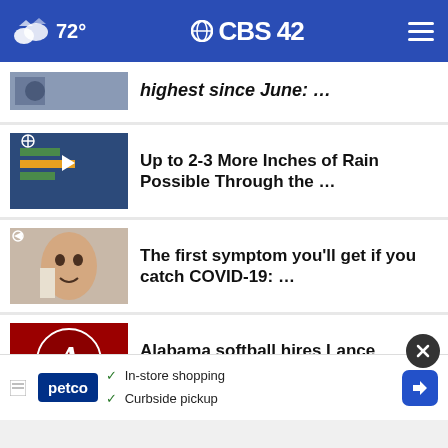72° CBS 42
highest since June: …
Up to 2-3 More Inches of Rain Possible Through the …
The first symptom you'll get if you catch COVID-19: …
Alabama softball hires Lance McMahon as assistant …
Mae Jemison to speak at the University of Alabama …
Hoover Police searching for the suspects wanted for
In-store shopping
Curbside pickup